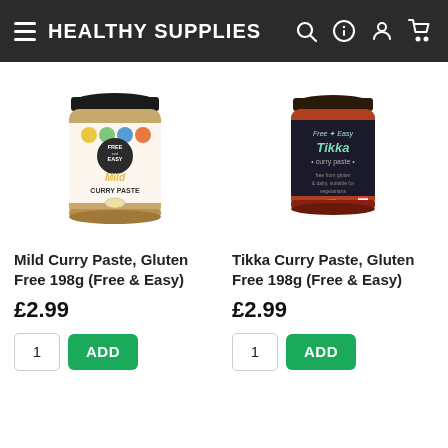HEALTHY SUPPLIES
[Figure (photo): Jar of Free & Easy Mild Curry Paste]
Mild Curry Paste, Gluten Free 198g (Free & Easy)
£2.99
[Figure (photo): Jar of Free & Easy Tikka Curry Paste]
Tikka Curry Paste, Gluten Free 198g (Free & Easy)
£2.99